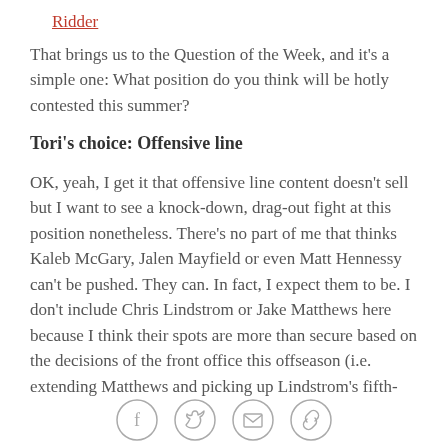Ridder
That brings us to the Question of the Week, and it's a simple one: What position do you think will be hotly contested this summer?
Tori's choice: Offensive line
OK, yeah, I get it that offensive line content doesn't sell but I want to see a knock-down, drag-out fight at this position nonetheless. There's no part of me that thinks Kaleb McGary, Jalen Mayfield or even Matt Hennessy can't be pushed. They can. In fact, I expect them to be. I don't include Chris Lindstrom or Jake Matthews here because I think their spots are more than secure based on the decisions of the front office this offseason (i.e. extending Matthews and picking up Lindstrom's fifth-
[Figure (other): Row of four social sharing icons in circles: Facebook (f), Twitter (bird), Email (envelope), Link (chain)]